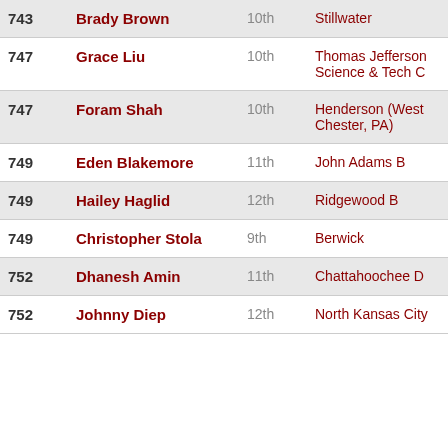| Rank | Name | Grade | School | Points |
| --- | --- | --- | --- | --- |
| 743 | Brady Brown | 10th | Stillwater | 5 |
| 747 | Grace Liu | 10th | Thomas Jefferson Science & Tech C | 10 |
| 747 | Foram Shah | 10th | Henderson (West Chester, PA) | 10 |
| 749 | Eden Blakemore | 11th | John Adams B | 10 |
| 749 | Hailey Haglid | 12th | Ridgewood B | 10 |
| 749 | Christopher Stola | 9th | Berwick | 10 |
| 752 | Dhanesh Amin | 11th | Chattahoochee D | 10 |
| 752 | Johnny Diep | 12th | North Kansas City | 10 |